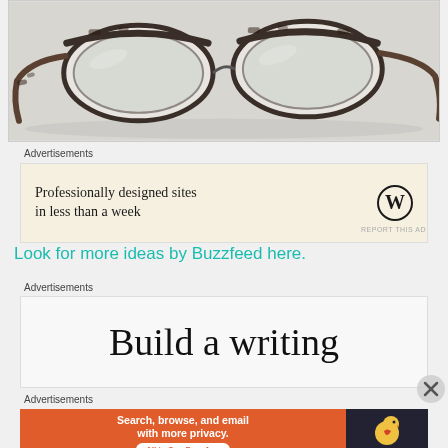[Figure (photo): Product photo of tortoiseshell/brown patterned eyeglasses (browline style) on a light grey background]
Advertisements
[Figure (other): WordPress advertisement: 'Professionally designed sites in less than a week' with WordPress logo]
REPORT THIS AD
Look for more ideas by Buzzfeed here.
Advertisements
[Figure (other): Advertisement showing text 'Build a writing']
Advertisements
[Figure (other): DuckDuckGo advertisement: 'Search, browse, and email with more privacy. All in One Free App' with DuckDuckGo logo on dark background]